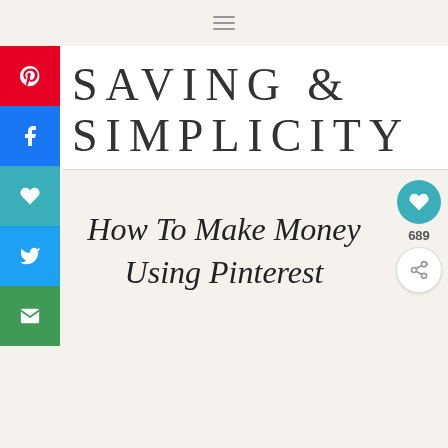≡
SAVING & SIMPLICITY
How To Make Money Using Pinterest